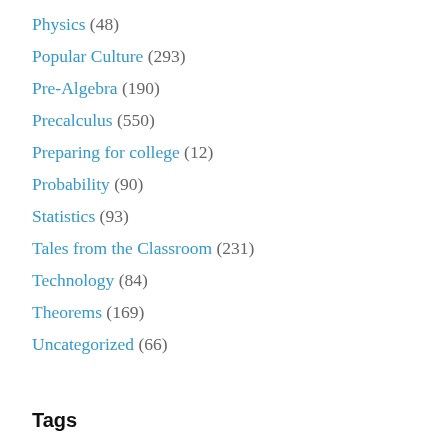Physics (48)
Popular Culture (293)
Pre-Algebra (190)
Precalculus (550)
Preparing for college (12)
Probability (90)
Statistics (93)
Tales from the Classroom (231)
Technology (84)
Theorems (169)
Uncategorized (66)
Tags